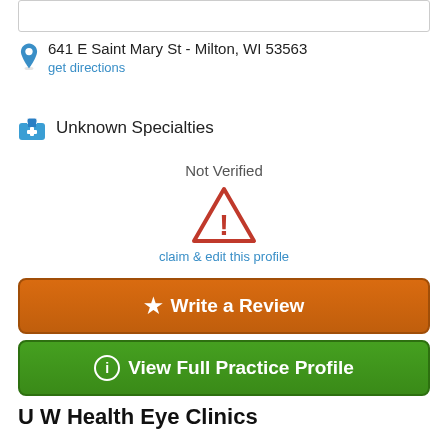641 E Saint Mary St - Milton, WI 53563
get directions
Unknown Specialties
Not Verified
claim & edit this profile
★ Write a Review
ⓘ View Full Practice Profile
U W Health Eye Clinics
(608) 257-4286